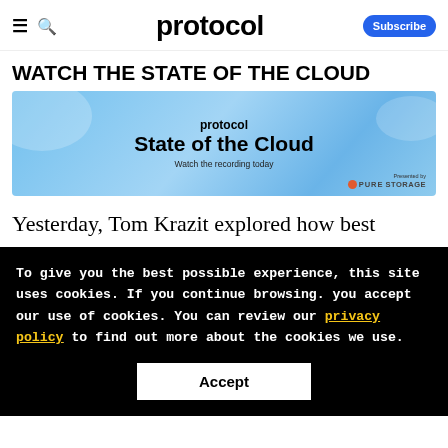≡  🔍  protocol  Subscribe
WATCH THE STATE OF THE CLOUD
[Figure (illustration): Protocol 'State of the Cloud' event banner with blue cloud background. Shows 'protocol' logo at top, 'State of the Cloud' title in bold, 'Watch the recording today' subtitle, and Pure Storage sponsor logo at bottom right.]
Yesterday, Tom Krazit explored how best
To give you the best possible experience, this site uses cookies. If you continue browsing. you accept our use of cookies. You can review our privacy policy to find out more about the cookies we use.
Accept